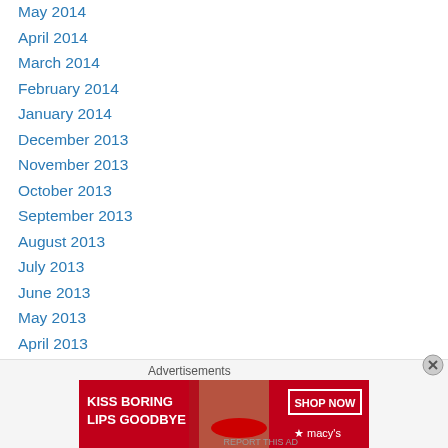May 2014
April 2014
March 2014
February 2014
January 2014
December 2013
November 2013
October 2013
September 2013
August 2013
July 2013
June 2013
May 2013
April 2013
March 2013
February 2013
[Figure (infographic): Macy's advertisement banner: KISS BORING LIPS GOODBYE with SHOP NOW button and Macy's star logo, red background with woman's face]
Advertisements